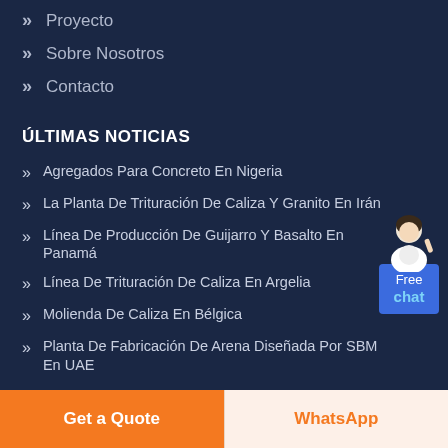» Proyecto
» Sobre Nosotros
» Contacto
ÚLTIMAS NOTICIAS
[Figure (illustration): Free chat widget with avatar of a woman and blue button labeled 'Free chat']
» Agregados Para Concreto En Nigeria
» La Planta De Trituración De Caliza Y Granito En Irán
» Línea De Producción De Guijarro Y Basalto En Panamá
» Línea De Trituración De Caliza En Argelia
» Molienda De Caliza En Bélgica
» Planta De Fabricación De Arena Diseñada Por SBM En UAE
Get a Quote
WhatsApp